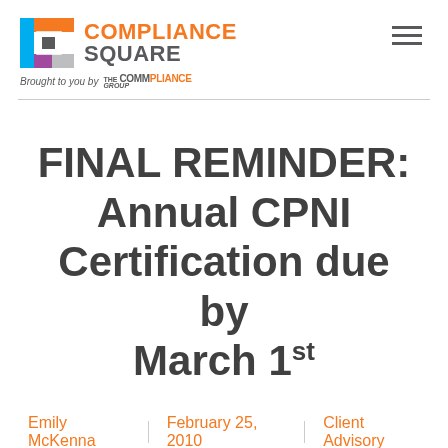[Figure (logo): Compliance Square logo with colorful square icon and orange/gray wordmark. Tagline: Brought to you by The Commpliance Group.]
FINAL REMINDER: Annual CPNI Certification due by March 1st
Emily McKenna | February 25, 2010 | Client Advisory